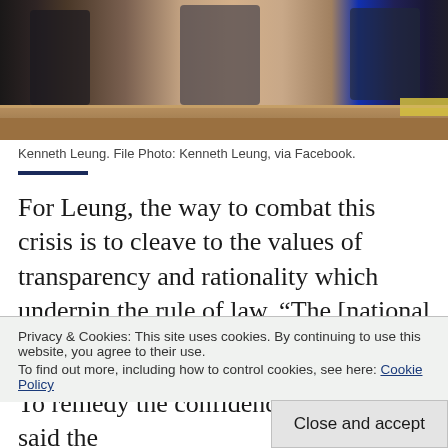[Figure (photo): Photo of people seated at what appears to be a legislative chamber, wooden desk visible, partially cropped]
Kenneth Leung. File Photo: Kenneth Leung, via Facebook.
For Leung, the way to combat this crisis is to cleave to the values of transparency and rationality which underpin the rule of law. “The [national security law] is a fait accompli, we cannot change much. So we have to work within the framework and urge the central government
Privacy & Cookies: This site uses cookies. By continuing to use this website, you agree to their use.
To find out more, including how to control cookies, see here: Cookie Policy
Close and accept
To remedy the confidence crisis, Leung said the